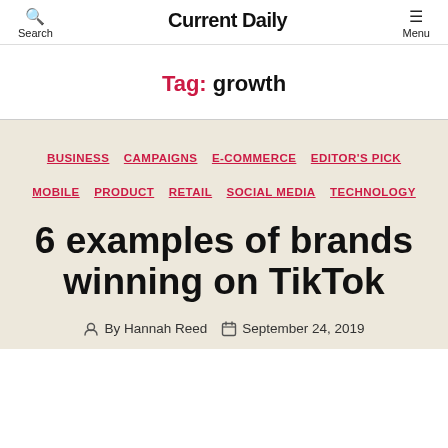Search | Current Daily | Menu
Tag: growth
BUSINESS  CAMPAIGNS  E-COMMERCE  EDITOR'S PICK  MOBILE  PRODUCT  RETAIL  SOCIAL MEDIA  TECHNOLOGY
6 examples of brands winning on TikTok
By Hannah Reed  September 24, 2019